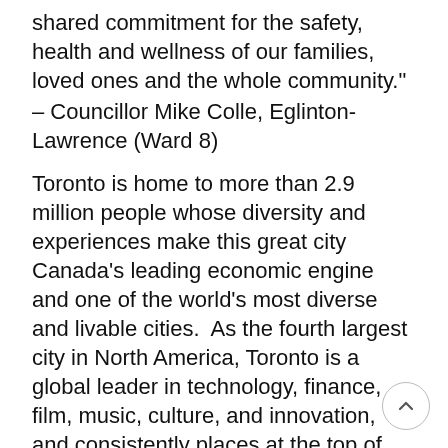shared commitment for the safety, health and wellness of our families, loved ones and the whole community."
– Councillor Mike Colle, Eglinton-Lawrence (Ward 8)
Toronto is home to more than 2.9 million people whose diversity and experiences make this great city Canada's leading economic engine and one of the world's most diverse and livable cities. As the fourth largest city in North America, Toronto is a global leader in technology, finance, film, music, culture, and innovation, and consistently places at the top of international rankings due to investments championed by its government, residents and businesses. For more information visit http://www.toronto.ca or follow us on Twitter at http://www.twitter.com/CityofToronto, on Instagram at http://www.instagram.com/cityofto…